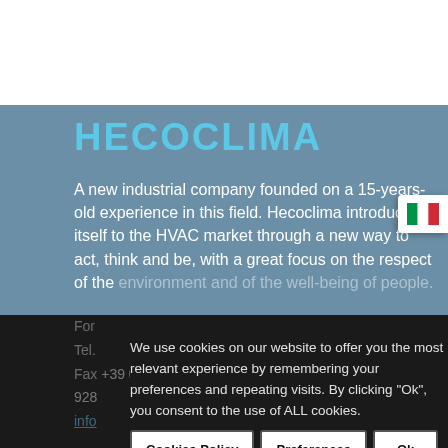HECOCLIMA
A new industrial company founded on a 15-years-old experience in this field. Hecoclima introduces itself to the HVAC market through a new way to act, think and be, with a great focus on the respect of the environment and of the well-being of people.
We use cookies on our website to offer you the most relevant experience by remembering your preferences and repeating visits. By clicking "Ok", you consent to the use of ALL cookies.
Fax +39 075 928...
info...